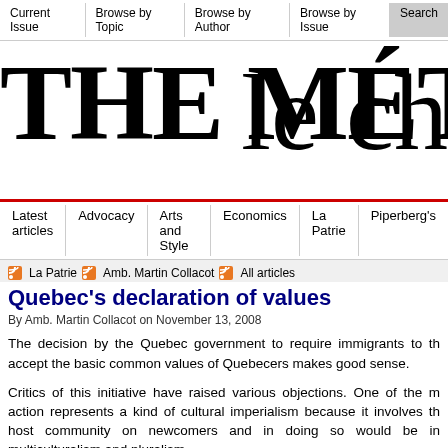Current Issue | Browse by Topic | Browse by Author | Browse by Issue | Search
THE MÉTROP
Latest articles | Advocacy | Arts and Style | Economics | La Patrie | Piperberg's
[Figure (illustration): Large decorative text reading 'le ch' in serif font, right-aligned in the masthead area]
La Patrie   Amb. Martin Collacot   All articles
Quebec's declaration of values
By Amb. Martin Collacot on November 13, 2008
The decision by the Quebec government to require immigrants to accept the basic common values of Quebecers makes good sense.
Critics of this initiative have raised various objections. One of the m action represents a kind of cultural imperialism because it involves th host community on newcomers and in doing so would be in multiculturalism and pluralism.
The fact is however that, while Quebec in particular and Canada tolerant and inclusive places on earth, we also have our own identit